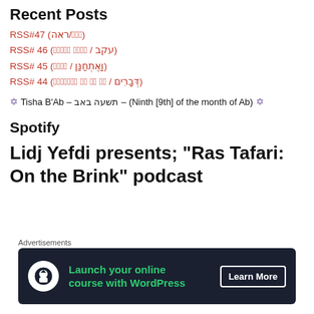Recent Posts
RSS#47 (ראה/𓀀𓀁𓀂)
RSS# 46 (עקב/𓀃𓀄𓀅𓀆𓀇 𓀈𓀉𓀊𓀋)
RSS# 45 (וָאֶתְחַנַּן / 𓀌𓀍𓀎𓀏)
RSS# 44 (דְּבָרִים / 𓀐𓀑𓀒𓀓𓀔𓀕𓀖 𓀗𓀘 𓀙𓀚 𓀛𓀜)
✡ Tisha B'Ab – תשעה באב – (Ninth [9th] of the month of Ab) ✡
Spotify
Lidj Yefdi presents; "Ras Tafari: On the Brink" podcast
[Figure (photo): Spotify podcast image showing green circular logo on dark background]
[Figure (other): Close button (X in circle)]
Advertisements
[Figure (other): Advertisement banner: Launch your online course with WordPress - Learn More button with icon]